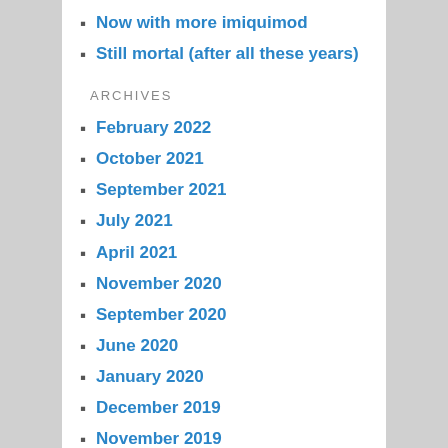Now with more imiquimod
Still mortal (after all these years)
ARCHIVES
February 2022
October 2021
September 2021
July 2021
April 2021
November 2020
September 2020
June 2020
January 2020
December 2019
November 2019
October 2019
September 2019
August 2019
April 2019
March 2019
January 2019